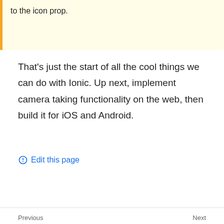to the icon prop.
That's just the start of all the cool things we can do with Ionic. Up next, implement camera taking functionality on the web, then build it for iOS and Android.
Edit this page
Previous
← Quickstart
Next
Taking Photos →